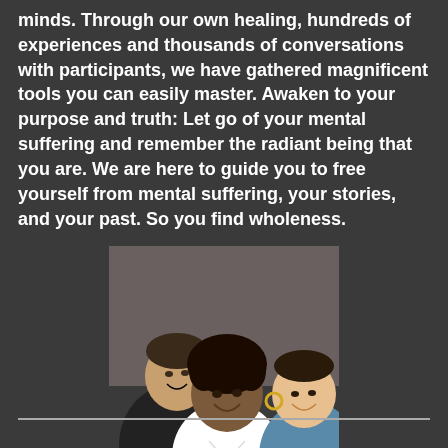minds. Through our own healing, hundreds of experiences and thousands of conversations with participants, we have gathered magnificent tools you can easily master. Awaken to your purpose and truth: Let go of your mental suffering and remember the radiant being that you are. We are here to guide you to free yourself from mental suffering, your stories, and your past. So you find wholeness.
[Figure (photo): Three people sitting together smiling and laughing — a man in a black shirt on the left, a woman with curly hair in a white top in the center, and a woman with hoop earrings partially visible on the right.]